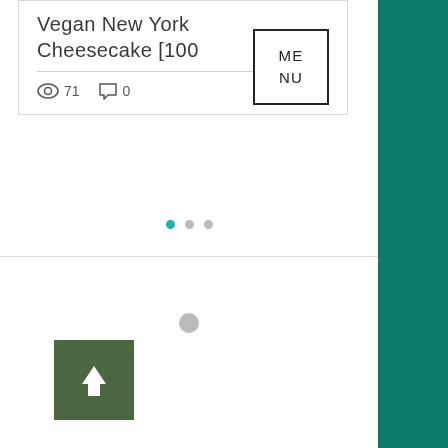Vegan New York Cheesecake [100
71 views  0 comments  6 likes
[Figure (other): Pagination dots: one teal active dot and two grey inactive dots]
[Figure (other): Loading spinner grey dot in center of content area]
[Figure (other): Back to top button: dark green square with white upward arrow]